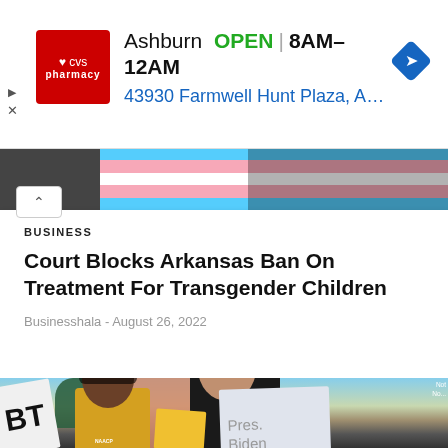[Figure (screenshot): CVS Pharmacy advertisement banner showing logo, 'Ashburn OPEN 8AM–12AM' and '43930 Farmwell Hunt Plaza, Ash...' with navigation arrow icon]
[Figure (photo): Protest scene showing people holding signs, with part of the transgender pride flag visible at the top]
BUSINESS
Court Blocks Arkansas Ban On Treatment For Transgender Children
Businesshala - August 26, 2022
[Figure (photo): Protest photo showing diverse crowd holding signs including 'BT', a white sign reading 'Pres. Biden', and yellow signs. People of color are prominent in the foreground.]